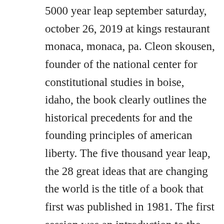5000 year leap september saturday, october 26, 2019 at kings restaurant monaca, monaca, pa. Cleon skousen, founder of the national center for constitutional studies in boise, idaho, the book clearly outlines the historical precedents for and the founding principles of american liberty. The five thousand year leap, the 28 great ideas that are changing the world is the title of a book that first was published in 1981. The first session was an introduction to the book, the 5000 year leap and the second session was a discussion on how the founders structured government. This book is a very